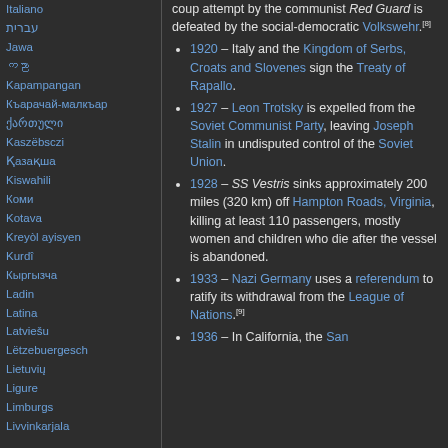Italiano
עברית
Jawa
ကညာ
Kapampangan
Къарачай-малкъар
ქართული
Kaszëbsczi
Қазақша
Kiswahili
Коми
Kotava
Kreyòl ayisyen
Kurdî
Кыргызча
Ladin
Latina
Latviešu
Lëtzebuergesch
Lietuvių
Ligure
Limburgs
Livvinkarjala
coup attempt by the communist Red Guard is defeated by the social-democratic Volkswehr.[8]
1920 – Italy and the Kingdom of Serbs, Croats and Slovenes sign the Treaty of Rapallo.
1927 – Leon Trotsky is expelled from the Soviet Communist Party, leaving Joseph Stalin in undisputed control of the Soviet Union.
1928 – SS Vestris sinks approximately 200 miles (320 km) off Hampton Roads, Virginia, killing at least 110 passengers, mostly women and children who die after the vessel is abandoned.
1933 – Nazi Germany uses a referendum to ratify its withdrawal from the League of Nations.[9]
1936 – In California, the San...